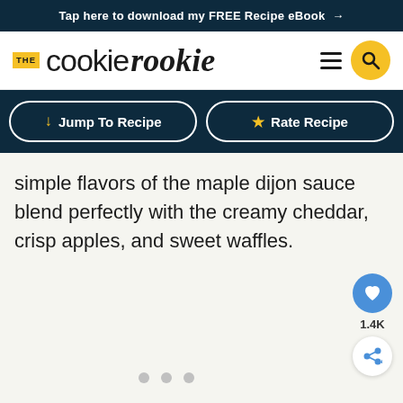Tap here to download my FREE Recipe eBook →
[Figure (logo): The Cookie Rookie logo with yellow THE badge, sans-serif 'cookie' and italic 'rookie' text, hamburger menu icon, and yellow circular search icon]
↓ Jump To Recipe
★ Rate Recipe
simple flavors of the maple dijon sauce blend perfectly with the creamy cheddar, crisp apples, and sweet waffles.
[Figure (other): Image placeholder area with three dot carousel indicators at bottom, heart/save button showing 1.4K count, and share button on the right side]